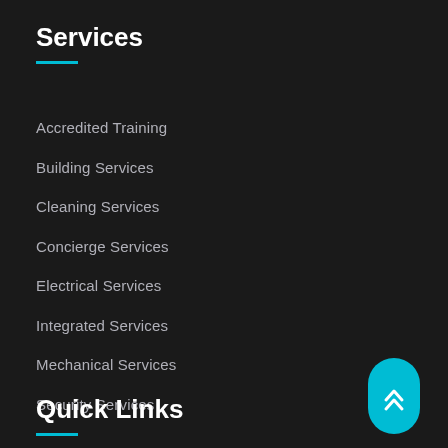Services
Accredited Training
Building Services
Cleaning Services
Concierge Services
Electrical Services
Integrated Services
Mechanical Services
Security Services
Quick Links